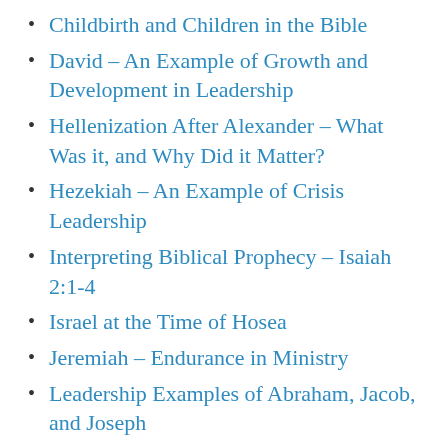Childbirth and Children in the Bible
David – An Example of Growth and Development in Leadership
Hellenization After Alexander – What Was it, and Why Did it Matter?
Hezekiah – An Example of Crisis Leadership
Interpreting Biblical Prophecy – Isaiah 2:1-4
Israel at the Time of Hosea
Jeremiah – Endurance in Ministry
Leadership Examples of Abraham, Jacob, and Joseph
Miracles in the Bible
Moses – An Example of Administrative Leadership and People Management